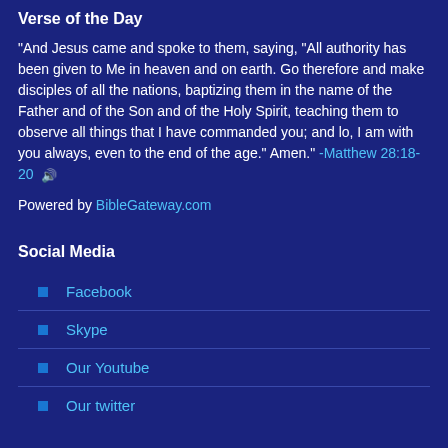Verse of the Day
"And Jesus came and spoke to them, saying, "All authority has been given to Me in heaven and on earth. Go therefore and make disciples of all the nations, baptizing them in the name of the Father and of the Son and of the Holy Spirit, teaching them to observe all things that I have commanded you; and lo, I am with you always, even to the end of the age." Amen." -Matthew 28:18-20 🔊
Powered by BibleGateway.com
Social Media
Facebook
Skype
Our Youtube
Our twitter